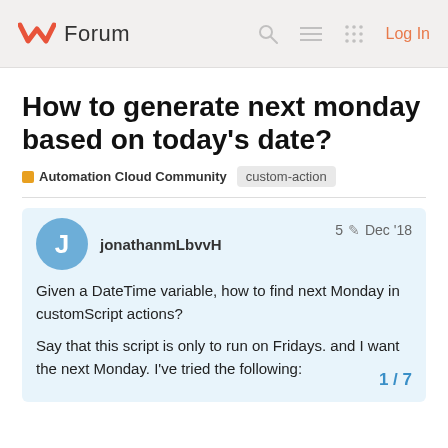Forum
How to generate next monday based on today's date?
Automation Cloud Community   custom-action
jonathanmLbvvH   5 Dec '18
Given a DateTime variable, how to find next Monday in customScript actions?

Say that this script is only to run on Fridays. and I want the next Monday. I've tried the following:
1 / 7